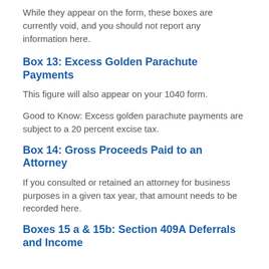While they appear on the form, these boxes are currently void, and you should not report any information here.
Box 13: Excess Golden Parachute Payments
This figure will also appear on your 1040 form.
Good to Know: Excess golden parachute payments are subject to a 20 percent excise tax.
Box 14: Gross Proceeds Paid to an Attorney
If you consulted or retained an attorney for business purposes in a given tax year, that amount needs to be recorded here.
Boxes 15 a & 15b: Section 409A Deferrals and Income